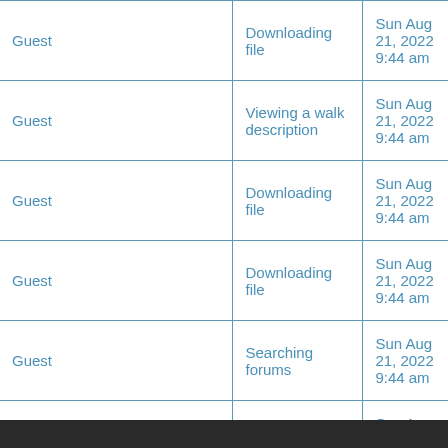|  |  |  |
| --- | --- | --- |
| Guest | Downloading file | Sun Aug 21, 2022 9:44 am |
| Guest | Viewing a walk description | Sun Aug 21, 2022 9:44 am |
| Guest | Downloading file | Sun Aug 21, 2022 9:44 am |
| Guest | Downloading file | Sun Aug 21, 2022 9:44 am |
| Guest | Searching forums | Sun Aug 21, 2022 9:44 am |
| Guest | Viewing a walk description | Sun Aug 21, 2022 9:44 am |
| Guest |  | Sun Aug |